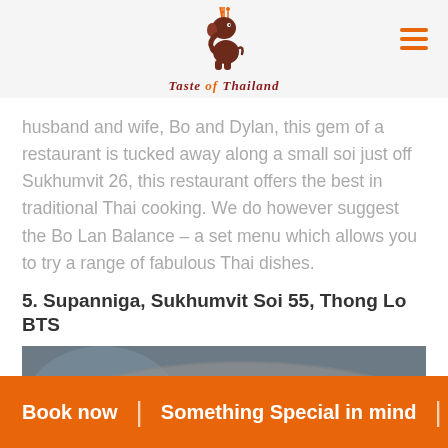Taste of Thailand
husband and wife, Bo and Dylan, this gem of a restaurant is tucked away along a small soi just off Sukhumvit 26, this restaurant offers the best in traditional Thai cooking. We do however suggest the Bo Lan Balance – a set menu which allows you to try a range of fabulous Thai dishes.
5. Supanniga, Sukhumvit Soi 55, Thong Lo BTS
[Figure (photo): Close-up photo of a Thai food dish in a metal bowl, showing stir-fried ingredients with mushrooms, vegetables, chili peppers and sauce]
Book now | Something Special in mind |